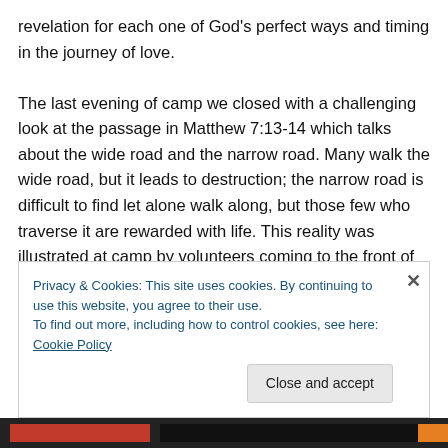revelation for each one of God's perfect ways and timing in the journey of love.

The last evening of camp we closed with a challenging look at the passage in Matthew 7:13-14 which talks about the wide road and the narrow road. Many walk the wide road, but it leads to destruction; the narrow road is difficult to find let alone walk along, but those few who traverse it are rewarded with life. This reality was illustrated at camp by volunteers coming to the front of the hall and choosing a path to walk along; one path was littered with candy, and
Privacy & Cookies: This site uses cookies. By continuing to use this website, you agree to their use.
To find out more, including how to control cookies, see here: Cookie Policy
Close and accept